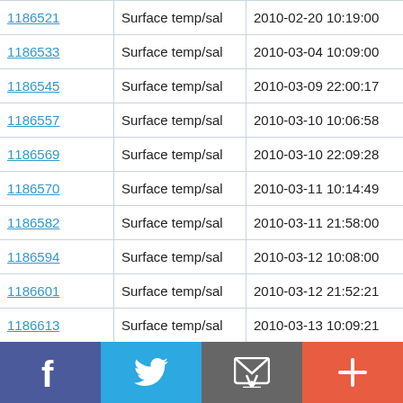| ID | Type | Date/Time | Value |
| --- | --- | --- | --- |
| 1186521 | Surface temp/sal | 2010-02-20 10:19:00 | 53.337 N |
| 1186533 | Surface temp/sal | 2010-03-04 10:09:00 | 53.337 N |
| 1186545 | Surface temp/sal | 2010-03-09 22:00:17 | 53.329 N |
| 1186557 | Surface temp/sal | 2010-03-10 10:06:58 | 53.338 N |
| 1186569 | Surface temp/sal | 2010-03-10 22:09:28 | 53.329 N |
| 1186570 | Surface temp/sal | 2010-03-11 10:14:49 | 53.337 N |
| 1186582 | Surface temp/sal | 2010-03-11 21:58:00 | 53.33 N |
| 1186594 | Surface temp/sal | 2010-03-12 10:08:00 | 53.337 N |
| 1186601 | Surface temp/sal | 2010-03-12 21:52:21 | 53.329 N |
| 1186613 | Surface temp/sal | 2010-03-13 10:09:21 | 53.337 N |